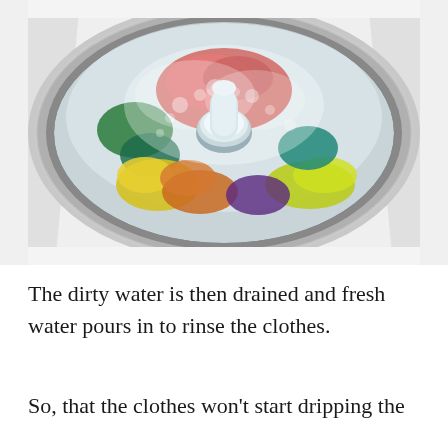[Figure (photo): Top-down view of an open top-loading washing machine drum filled with colorful wet clothes including red, yellow, green, teal, and orange items, with soapy water and a white central agitator visible. The machine casing is white and silver.]
The dirty water is then drained and fresh water pours in to rinse the clothes.
So, that the clothes won't start dripping the